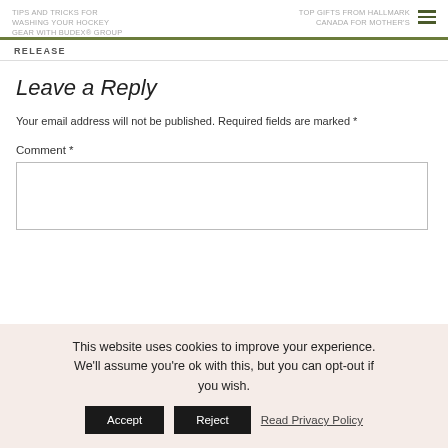TIPS AND TRICKS FOR WASHING YOUR HOCKEY GEAR WITH BUDEX® GROUP | TOP GIFTS FROM HALLMARK CANADA FOR MOTHER'S
RELEASE
Leave a Reply
Your email address will not be published. Required fields are marked *
Comment *
This website uses cookies to improve your experience. We'll assume you're ok with this, but you can opt-out if you wish. Accept Reject Read Privacy Policy